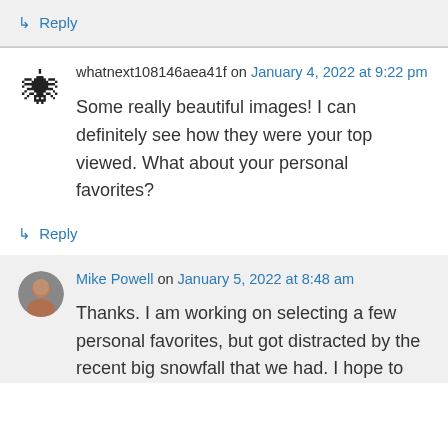↳ Reply
whatnext108146aea41f on January 4, 2022 at 9:22 pm
Some really beautiful images! I can definitely see how they were your top viewed. What about your personal favorites?
↳ Reply
Mike Powell on January 5, 2022 at 8:48 am
Thanks. I am working on selecting a few personal favorites, but got distracted by the recent big snowfall that we had. I hope to